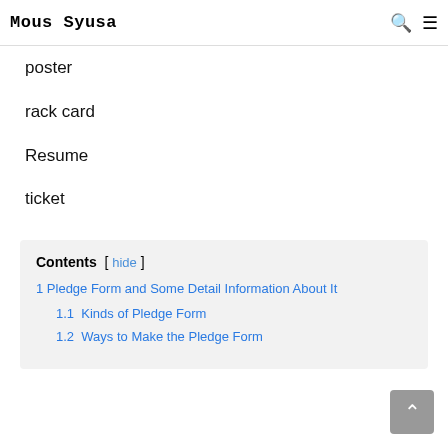Mous Syusa
poster
rack card
Resume
ticket
Contents [ hide ] 1 Pledge Form and Some Detail Information About It 1.1 Kinds of Pledge Form 1.2 Ways to Make the Pledge Form